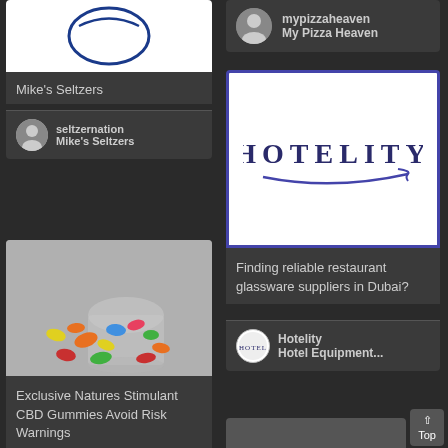[Figure (screenshot): Mike's Seltzers logo - circular blue logo on white background]
Mike's Seltzers
seltzernation
Mike's Seltzers
[Figure (photo): Colorful gummy candies spilling out of a glass jar on grey background]
Exclusive Natures Stimulant CBD Gummies Avoid Risk Warnings
mypizzaheaven
My Pizza Heaven
[Figure (logo): Hotelity logo - dark blue serif text with swoosh underline on white background]
Finding reliable restaurant glassware suppliers in Dubai?
Hotelity
Hotel Equipment...